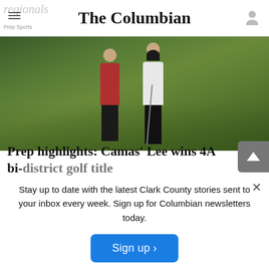The Columbian
[Figure (photo): Two golfers standing on a golf course green with lush grass in the background]
Prep highlights: Camas' Lee wins 4A bi-district golf title
Stay up to date with the latest Clark County stories sent to your inbox every week. Sign up for Columbian newsletters today.